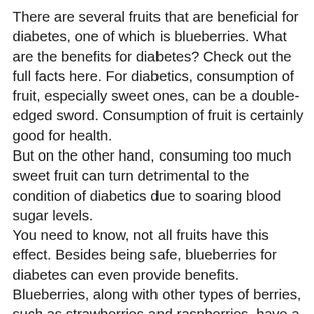There are several fruits that are beneficial for diabetes, one of which is blueberries. What are the benefits for diabetes? Check out the full facts here. For diabetics, consumption of fruit, especially sweet ones, can be a double-edged sword. Consumption of fruit is certainly good for health.
But on the other hand, consuming too much sweet fruit can turn detrimental to the condition of diabetics due to soaring blood sugar levels.
You need to know, not all fruits have this effect. Besides being safe, blueberries for diabetes can even provide benefits.
Blueberries, along with other types of berries, such as strawberries and raspberries, have a relatively low glycemic index.
The glycemic index of blueberries is 53, which is similar to that of kiwifruit, bananas, and pineapples.
Content of Blueberries is Good for Blood Sugar
One cup of fresh blueberries contains as much as 84